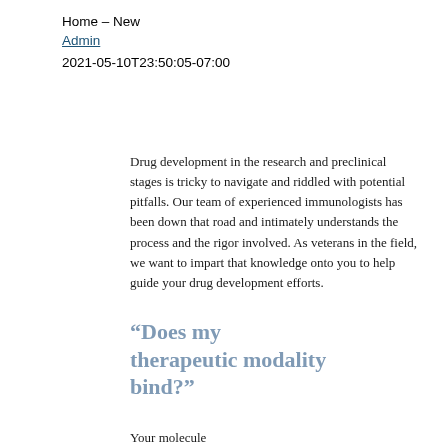Home – New
Admin
2021-05-10T23:50:05-07:00
Drug development in the research and preclinical stages is tricky to navigate and riddled with potential pitfalls. Our team of experienced immunologists has been down that road and intimately understands the process and the rigor involved. As veterans in the field, we want to impart that knowledge onto you to help guide your drug development efforts.
“Does my therapeutic modality bind?”
Your molecule